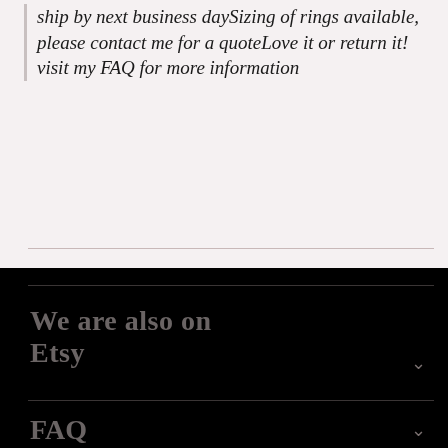ship by next business daySizing of rings available, please contact me for a quoteLove it or return it! visit my FAQ for more information
[Figure (infographic): Row of five social media icon circles: Twitter (blue bird), Facebook (dark blue f), Pinterest (red P), Google+ (red G+), Email (grey envelope)]
We are also on Etsy
FAQ